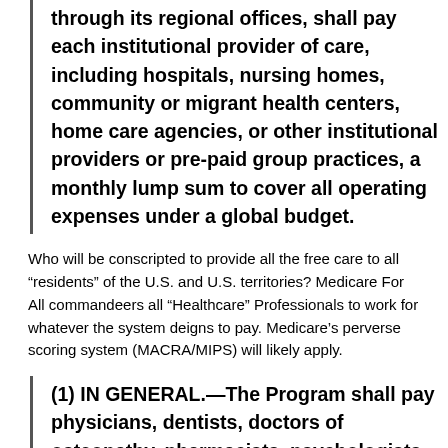through its regional offices, shall pay each institutional provider of care, including hospitals, nursing homes, community or migrant health centers, home care agencies, or other institutional providers or pre-paid group practices, a monthly lump sum to cover all operating expenses under a global budget.
Who will be conscripted to provide all the free care to all "residents" of the U.S. and U.S. territories? Medicare For All commandeers all "Healthcare" Professionals to work for whatever the system deigns to pay. Medicare's perverse scoring system (MACRA/MIPS) will likely apply.
(1) IN GENERAL.—The Program shall pay physicians, dentists, doctors of osteopathy, pharmacists, psychologists, chiropractors,